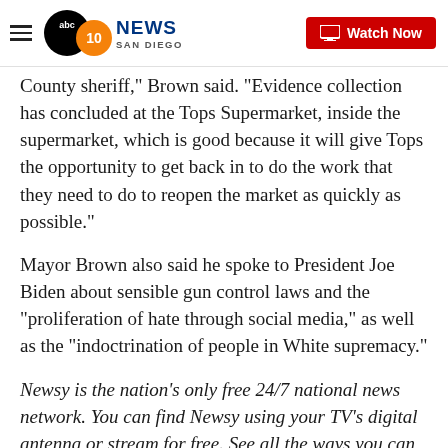ABC 10News San Diego — Watch Now
County sheriff," Brown said. "Evidence collection has concluded at the Tops Supermarket, inside the supermarket, which is good because it will give Tops the opportunity to get back in to do the work that they need to do to reopen the market as quickly as possible."
Mayor Brown also said he spoke to President Joe Biden about sensible gun control laws and the "proliferation of hate through social media," as well as the "indoctrination of people in White supremacy."
Newsy is the nation's only free 24/7 national news network. You can find Newsy using your TV's digital antenna or stream for free. See all the ways you can